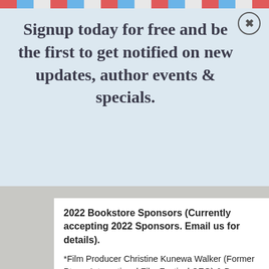Signup today for free and be the first to get notified on new updates, author events & specials.
Enter your email
Subscribe
2022 Bookstore Sponsors (Currently accepting 2022 Sponsors. Email us for details).
*Film Producer Christine Kunewa Walker (Former Ptown International Film Festival CEO) & Dr. Bryan Walker